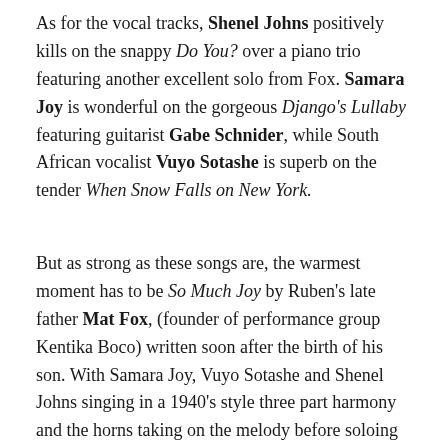As for the vocal tracks, Shenel Johns positively kills on the snappy Do You? over a piano trio featuring another excellent solo from Fox. Samara Joy is wonderful on the gorgeous Django's Lullaby featuring guitarist Gabe Schnider, while South African vocalist Vuyo Sotashe is superb on the tender When Snow Falls on New York.
But as strong as these songs are, the warmest moment has to be So Much Joy by Ruben's late father Mat Fox, (founder of performance group Kentika Boco) written soon after the birth of his son. With Samara Joy, Vuyo Sotashe and Shenel Johns singing in a 1940's style three part harmony and the horns taking on the melody before soloing with…so much joy! The song is perfectly set up by the preceding The Dance of the Twins, a duet between Picard's piano and the incredible tap dancing of Michaela Marino Lerman that's just so much fun.